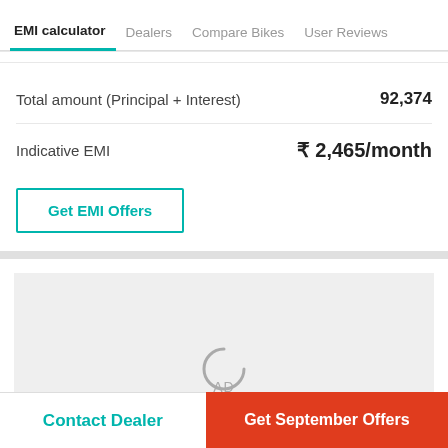EMI calculator | Dealers | Compare Bikes | User Reviews
Total amount (Principal + Interest)   92,374
Indicative EMI   ₹2,465/month
Get EMI Offers
[Figure (other): Advertisement loading spinner placeholder with AD text]
Contact Dealer   Get September Offers